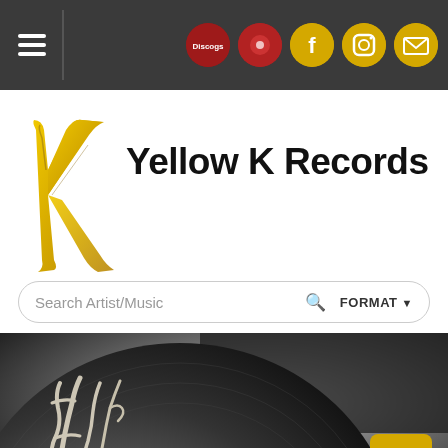Yellow K Records website navigation bar with hamburger menu and social icons (Discogs, Music Magpie, Facebook, Instagram, Email)
Yellow K Records
[Figure (logo): Yellow K Records logo: gold/yellow stylized letter K with a bold black sans-serif text 'Yellow K Records' to the right]
[Figure (screenshot): Search bar with placeholder text 'Search Artist/Music', a magnifying glass icon, and a FORMAT dropdown button]
[Figure (photo): Black and white close-up photograph of a vinyl record with white handwritten-style text/label visible, showing the curved surface of the record]